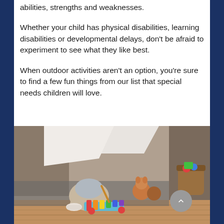abilities, strengths and weaknesses.
Whether your child has physical disabilities, learning disabilities or developmental delays, don't be afraid to experiment to see what they like best.
When outdoor activities aren't an option, you're sure to find a few fun things from our list that special needs children will love.
[Figure (photo): A child sitting cross-legged on a rug inside a makeshift tent or fort, playing with a colorful xylophone toy. Stuffed animals and other toys are visible in the background on a wooden floor.]